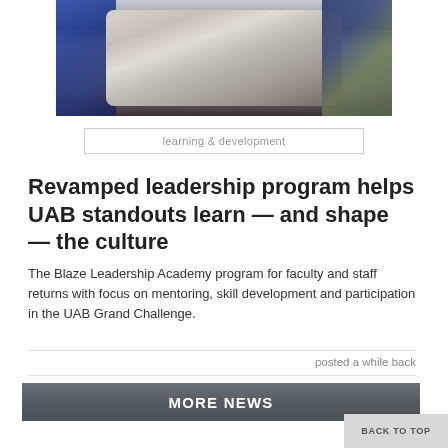[Figure (photo): Group photo of faculty and staff seated around a large marble conference table in a meeting room]
learning & development
Revamped leadership program helps UAB standouts learn — and shape — the culture
The Blaze Leadership Academy program for faculty and staff returns with focus on mentoring, skill development and participation in the UAB Grand Challenge.
posted a while back
MORE NEWS
BACK TO TOP